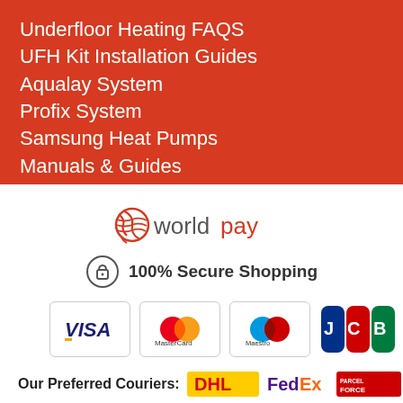Underfloor Heating FAQS
UFH Kit Installation Guides
Aqualay System
Profix System
Samsung Heat Pumps
Manuals & Guides
[Figure (logo): Worldpay logo with globe icon]
[Figure (infographic): Lock icon with text: 100% Secure Shopping]
[Figure (logo): Payment card logos: VISA, MasterCard, Maestro, JCB]
Our Preferred Couriers:
[Figure (logo): Courier logos: DHL, FedEx, PARCEL FORCE, UPS]